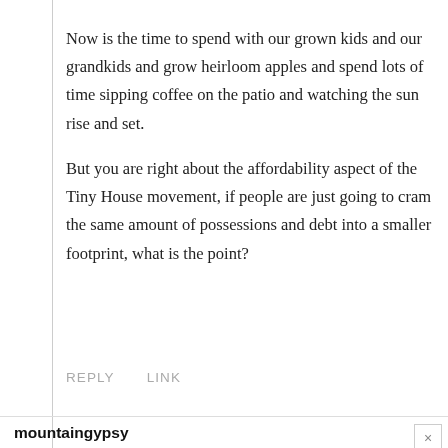Now is the time to spend with our grown kids and our grandkids and grow heirloom apples and spend lots of time sipping coffee on the patio and watching the sun rise and set.
But you are right about the affordability aspect of the Tiny House movement, if people are just going to cram the same amount of possessions and debt into a smaller footprint, what is the point?
REPLY    LINK
mountaingypsy